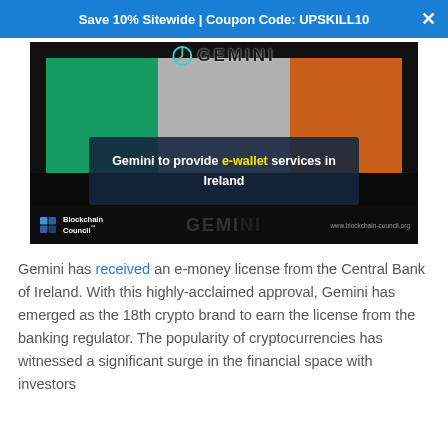Save 10% Sitewide | Coupon Code: UPSKILL10
[Figure (illustration): Promotional image for Gemini e-wallet services in Ireland. Shows Gemini logo at top against the Irish flag (green, white, orange stripes). A dark navy overlay box in the center reads 'Gemini to provide e-wallet services in Ireland' with 'e-wallet' highlighted in yellow. Bottom bar shows Blockchain Council logo on the left, partial Gemini wordmark in the center, and www.blockchain-council.org on the right.]
Gemini has received an e-money license from the Central Bank of Ireland. With this highly-acclaimed approval, Gemini has emerged as the 18th crypto brand to earn the license from the banking regulator. The popularity of cryptocurrencies has witnessed a significant surge in the financial space with investors